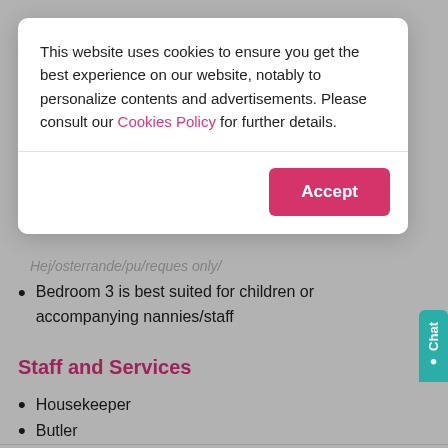This website uses cookies to ensure you get the best experience on our website, notably to personalize contents and advertisements. Please consult our Cookies Policy for further details.
Bedroom 3 is best suited for children or accompanying nannies/staff
Staff and Services
Housekeeper
Butler
Chef
Inquire Availability
You won't be charged yet.